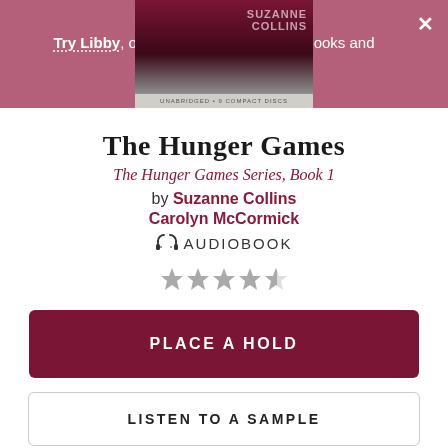Try Libby, our new app for enjoying ebooks and audiobooks!
[Figure (photo): Top portion of The Hunger Games audiobook CD cover by Suzanne Collins, narrated by Carolyn McCormick. Shows dark maroon/red background with author name. Bottom gray bar reads: UNABRIDGED • 9 COMPACT DISCS]
The Hunger Games
The Hunger Games Series, Book 1
by Suzanne Collins
Carolyn McCormick
AUDIOBOOK
[Figure (other): 4.5 out of 5 stars rating shown as gray star icons]
PLACE A HOLD
LISTEN TO A SAMPLE